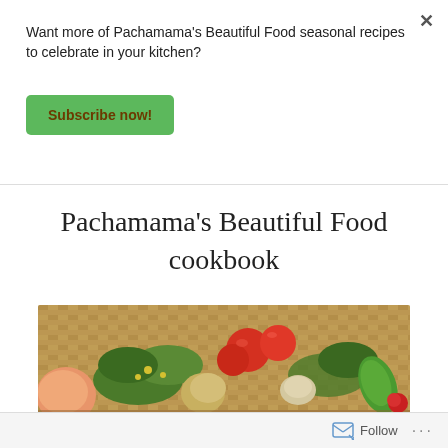Want more of Pachamama's Beautiful Food seasonal recipes to celebrate in your kitchen?
Subscribe now!
Pachamama's Beautiful Food cookbook
[Figure (photo): A wicker basket filled with fresh vegetables including tomatoes, herbs, dill, onions, peppers, and other seasonal produce on a wooden surface.]
Follow ...